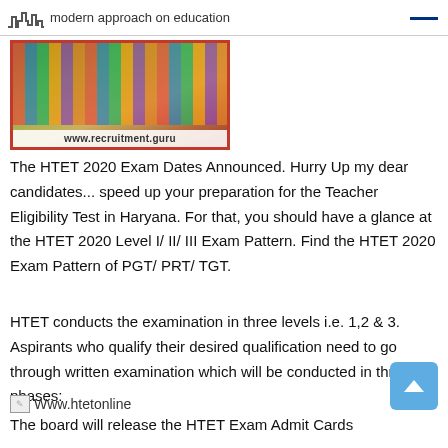modern approach on education
[Figure (photo): Photo of books on shelves with www.recruitment.guru watermark, framed in red border]
The HTET 2020 Exam Dates Announced. Hurry Up my dear candidates... speed up your preparation for the Teacher Eligibility Test in Haryana. For that, you should have a glance at the HTET 2020 Level I/ II/ III Exam Pattern. Find the HTET 2020 Exam Pattern of PGT/ PRT/ TGT.
HTET conducts the examination in three levels i.e. 1,2 & 3. Aspirants who qualify their desired qualification need to go through written examination which will be conducted in three phases:
[Figure (photo): Broken image placeholder labeled Www.htetonline]
The board will release the HTET Exam Admit Cards